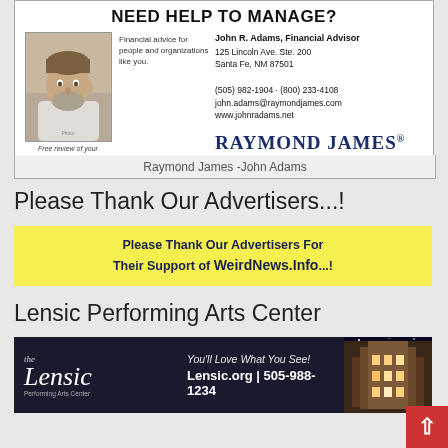[Figure (infographic): Raymond James financial advisor advertisement featuring photo of John R. Adams, tagline 'NEED HELP TO MANAGE?', contact info and Raymond James brand logo]
Raymond James -John Adams
Please Thank Our Advertisers...!
[Figure (infographic): Yellow banner reading 'Please Thank Our Advertisers For Their Support of WeirdNews.Info...!']
Lensic Performing Arts Center
[Figure (infographic): The Lensic Performing Arts Center advertisement: 'You'll Love What You See! Lensic.org | 505-988-1234']